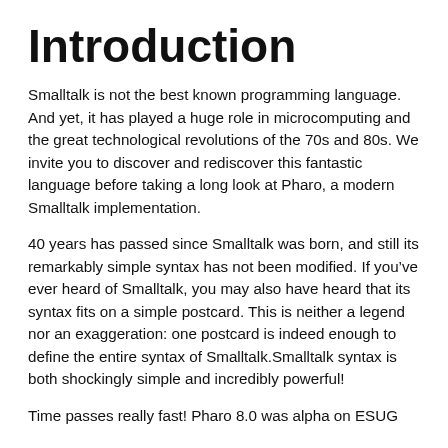Introduction
Smalltalk is not the best known programming language. And yet, it has played a huge role in microcomputing and the great technological revolutions of the 70s and 80s. We invite you to discover and rediscover this fantastic language before taking a long look at Pharo, a modern Smalltalk implementation.
40 years has passed since Smalltalk was born, and still its remarkably simple syntax has not been modified. If you’ve ever heard of Smalltalk, you may also have heard that its syntax fits on a simple postcard. This is neither a legend nor an exaggeration: one postcard is indeed enough to define the entire syntax of Smalltalk.Smalltalk syntax is both shockingly simple and incredibly powerful!
Time passes really fast! Pharo 8.0 was alpha on ESUG